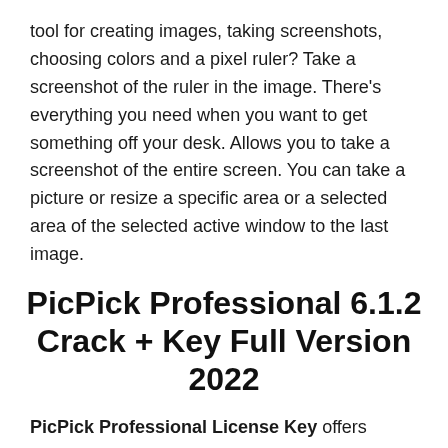tool for creating images, taking screenshots, choosing colors and a pixel ruler? Take a screenshot of the ruler in the image. There's everything you need when you want to get something off your desk. Allows you to take a screenshot of the entire screen. You can take a picture or resize a specific area or a selected area of the selected active window to the last image.
PicPick Professional 6.1.2 Crack + Key Full Version 2022
PicPick Professional License Key offers powerful screenshots that give you flexibility in advanced settings like hickeys, image quality, and more. Easy-to-use photo editor, color palette, color selection, pixel ruler to measure the size of objects, chairs (image position coordinates respectively), magnifying glass, mats. One of the best